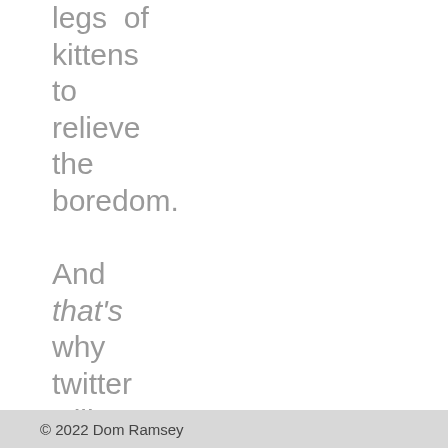legs of kittens to relieve the boredom.

And that's why twitter will succeed.Because it only
© 2022 Dom Ramsey